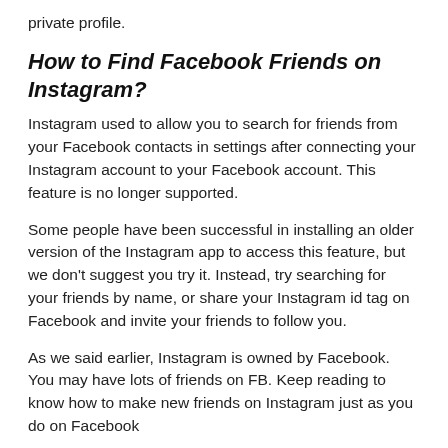private profile.
How to Find Facebook Friends on Instagram?
Instagram used to allow you to search for friends from your Facebook contacts in settings after connecting your Instagram account to your Facebook account. This feature is no longer supported.
Some people have been successful in installing an older version of the Instagram app to access this feature, but we don't suggest you try it. Instead, try searching for your friends by name, or share your Instagram id tag on Facebook and invite your friends to follow you.
As we said earlier, Instagram is owned by Facebook. You may have lots of friends on FB. Keep reading to know how to make new friends on Instagram just as you do on Facebook